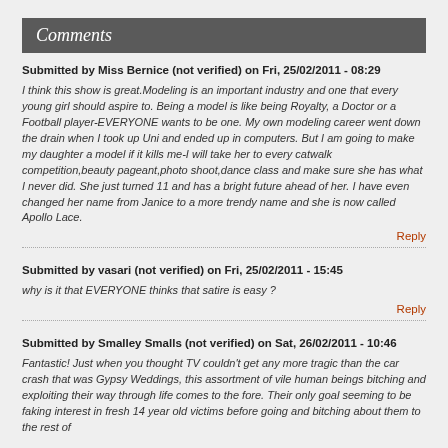Comments
Submitted by Miss Bernice (not verified) on Fri, 25/02/2011 - 08:29
I think this show is great.Modeling is an important industry and one that every young girl should aspire to. Being a model is like being Royalty, a Doctor or a Football player-EVERYONE wants to be one. My own modeling career went down the drain when I took up Uni and ended up in computers. But I am going to make my daughter a model if it kills me-I will take her to every catwalk competition,beauty pageant,photo shoot,dance class and make sure she has what I never did. She just turned 11 and has a bright future ahead of her. I have even changed her name from Janice to a more trendy name and she is now called Apollo Lace.
Reply
Submitted by vasari (not verified) on Fri, 25/02/2011 - 15:45
why is it that EVERYONE thinks that satire is easy ?
Reply
Submitted by Smalley Smalls (not verified) on Sat, 26/02/2011 - 10:46
Fantastic! Just when you thought TV couldn't get any more tragic than the car crash that was Gypsy Weddings, this assortment of vile human beings bitching and exploiting their way through life comes to the fore. Their only goal seeming to be faking interest in fresh 14 year old victims before going and bitching about them to the rest of the clique. Tears, heartbreak and that f***ing fake smile that telegraphs...